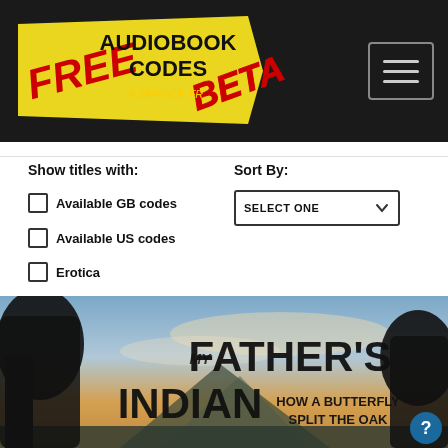Free Audiobook Codes BETA - A service from... [navigation header with logo and menu]
Show titles with:
Available GB codes
Available US codes
Erotica
Sort By:
[Figure (screenshot): Book cover image for 'My Father's Indian: How a Butterfly Split the Oak' showing silhouetted trees and a mountain landscape at sunset/dusk with text overlay]
MY FATHER'S INDIAN HOW A BUTTERFLY SPLIT THE OAK